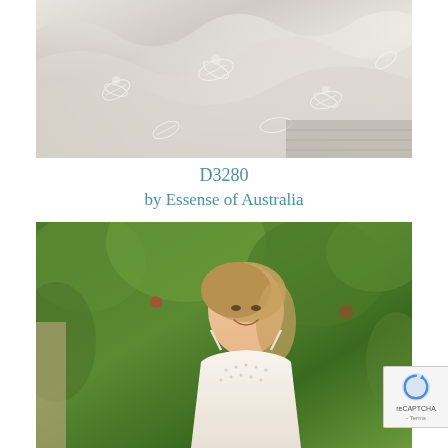[Figure (photo): Close-up photo of a white wedding dress with floral lace embroidery on tulle fabric, laying on a stone surface]
D3280
by Essense of Australia
[Figure (photo): Portrait photo of a smiling blonde bride wearing a white beaded wedding gown with spaghetti straps, standing outdoors in front of lush green foliage]